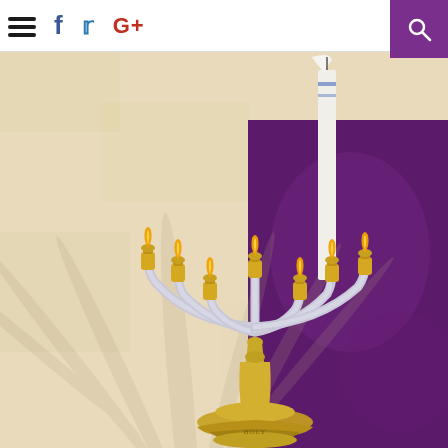Navigation bar with menu icon, Facebook, Twitter, Google+ social icons, and search button
[Figure (photo): A seven-branched menorah (silver and gold) with lit candles, casting a shadow on a parchment-textured background. A white candle with blue stripe is positioned behind the menorah. A purple panel occupies the right background.]